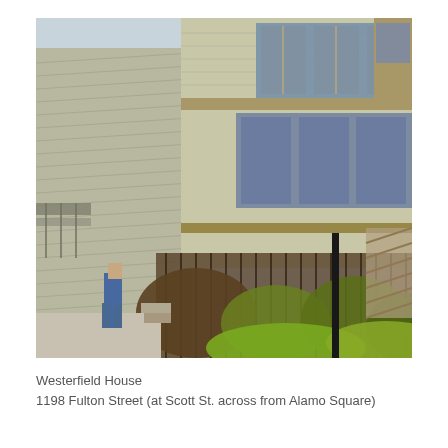[Figure (photo): Exterior photograph of the Westerfield House, a Victorian building at the corner of Fulton Street and Scott Street across from Alamo Square in San Francisco. The image shows the ornate multi-story wooden building with bay windows, decorative trim, iron fence, and lush shrubbery at street level. A person is visible walking on the sidewalk to the left.]
Westerfield House
1198 Fulton Street (at Scott St. across from Alamo Square)